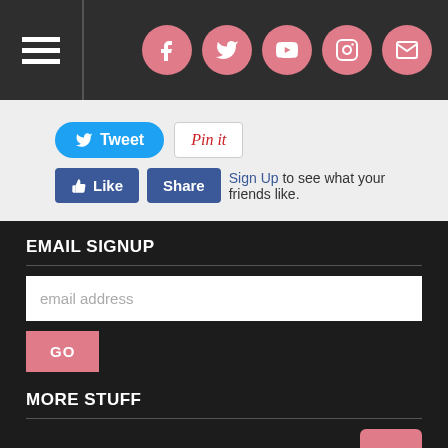Navigation header with hamburger menu and social icons (Facebook, Twitter, YouTube, Instagram, Email)
[Figure (screenshot): Social sharing buttons: Tweet button (blue), Pin it button (white/red), Like button (blue), Share button (blue), Sign Up link with text 'to see what your friends like.']
EMAIL SIGNUP
email address
GO
MORE STUFF
INFO ABOUT STOCK AND SEARCH
NEWS